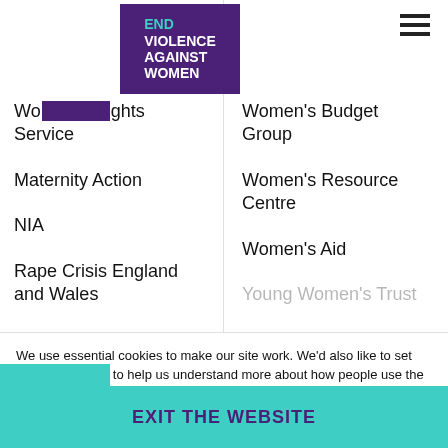[Figure (logo): End Violence Against Women logo - purple square with teal 'END' text and white 'VIOLENCE AGAINST WOMEN' text]
Women's Rights Service
Women's Budget Group
Maternity Action
Women's Resource Centre
NIA
Women's Aid
Rape Crisis England and Wales
We use essential cookies to make our site work. We'd also like to set optional cookies to help us understand more about how people use the website to help us make further improvements. You can find out more about the cookies we use in our Privacy policy.
EXIT THE WEBSITE